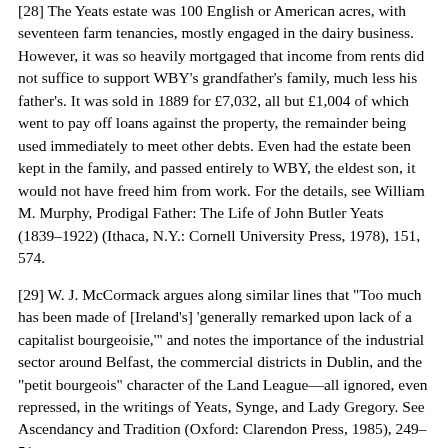[28] The Yeats estate was 100 English or American acres, with seventeen farm tenancies, mostly engaged in the dairy business. However, it was so heavily mortgaged that income from rents did not suffice to support WBY's grandfather's family, much less his father's. It was sold in 1889 for £7,032, all but £1,004 of which went to pay off loans against the property, the remainder being used immediately to meet other debts. Even had the estate been kept in the family, and passed entirely to WBY, the eldest son, it would not have freed him from work. For the details, see William M. Murphy, Prodigal Father: The Life of John Butler Yeats (1839–1922) (Ithaca, N.Y.: Cornell University Press, 1978), 151, 574.
[29] W. J. McCormack argues along similar lines that "Too much has been made of [Ireland's] 'generally remarked upon lack of a capitalist bourgeoisie,'" and notes the importance of the industrial sector around Belfast, the commercial districts in Dublin, and the "petit bourgeois" character of the Land League—all ignored, even repressed, in the writings of Yeats, Synge, and Lady Gregory. See Ascendancy and Tradition (Oxford: Clarendon Press, 1985), 249–51.
— 38 —
which the economic basis of the Protestant identity was shattered and new classes of farmers, tradesmen, and artisans vociferously sought some sort of collective identity as citizens of a de-Anglicized republic. For them the goal was not to refine the isolated individual, but to realize the national being as a whole, with its own language, manners,